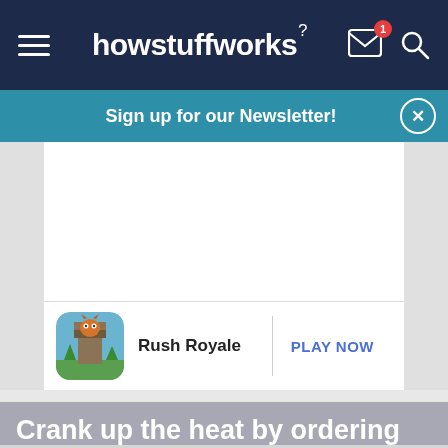howstuffworks
Sign up for our Newsletter!
[Figure (screenshot): Advertisement area showing Rush Royale game with icon and PLAY NOW button]
Crank up the heat by ordering something a little spicy?